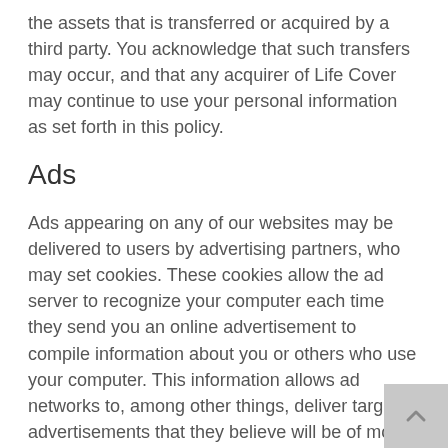the assets that is transferred or acquired by a third party. You acknowledge that such transfers may occur, and that any acquirer of Life Cover may continue to use your personal information as set forth in this policy.
Ads
Ads appearing on any of our websites may be delivered to users by advertising partners, who may set cookies. These cookies allow the ad server to recognize your computer each time they send you an online advertisement to compile information about you or others who use your computer. This information allows ad networks to, among other things, deliver targeted advertisements that they believe will be of most interest to you. This Privacy Policy covers the use of cookies by Life Cover and does not cover the use of cookies by any